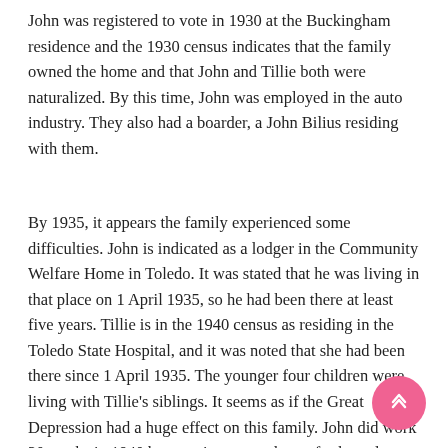John was registered to vote in 1930 at the Buckingham residence and the 1930 census indicates that the family owned the home and that John and Tillie both were naturalized. By this time, John was employed in the auto industry. They also had a boarder, a John Bilius residing with them.
By 1935, it appears the family experienced some difficulties. John is indicated as a lodger in the Community Welfare Home in Toledo. It was stated that he was living in that place on 1 April 1935, so he had been there at least five years. Tillie is in the 1940 census as residing in the Toledo State Hospital, and it was noted that she had been there since 1 April 1935. The younger four children were living with Tillie's siblings. It seems as if the Great Depression had a huge effect on this family. John did work 20 weeks in 1940 but was in a group home for homeless men. Tillie was ill and institutionalized.